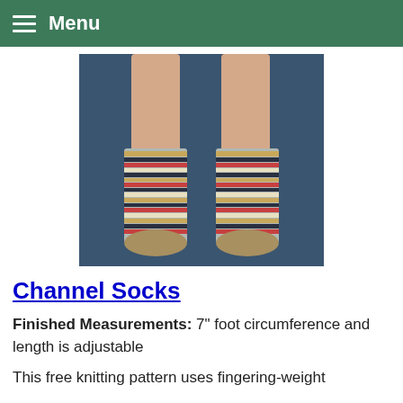Menu
[Figure (photo): Photo of two feet wearing colorful multicolor striped knitted socks against a dark blue background]
Channel Socks
Finished Measurements: 7" foot circumference and length is adjustable
This free knitting pattern uses fingering-weight